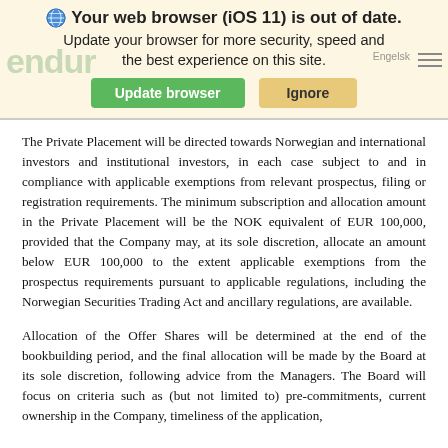[Figure (screenshot): Browser update warning banner with globe icon, text 'Your web browser (iOS 11) is out of date. Update your browser for more security, speed and the best experience on this site.' with green 'Update browser' button and yellow-orange 'Ignore' button. Background shows partial 'endur' watermark and 'Engelsk' text.]
The Private Placement will be directed towards Norwegian and international investors and institutional investors, in each case subject to and in compliance with applicable exemptions from relevant prospectus, filing or registration requirements. The minimum subscription and allocation amount in the Private Placement will be the NOK equivalent of EUR 100,000, provided that the Company may, at its sole discretion, allocate an amount below EUR 100,000 to the extent applicable exemptions from the prospectus requirements pursuant to applicable regulations, including the Norwegian Securities Trading Act and ancillary regulations, are available.
Allocation of the Offer Shares will be determined at the end of the bookbuilding period, and the final allocation will be made by the Board at its sole discretion, following advice from the Managers. The Board will focus on criteria such as (but not limited to) pre-commitments, current ownership in the Company, timeliness of the application,